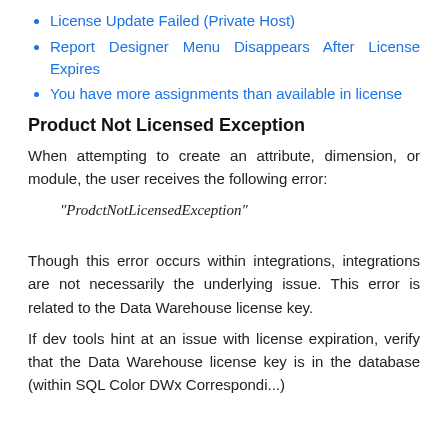License Update Failed (Private Host)
Report Designer Menu Disappears After License Expires
You have more assignments than available in license
Product Not Licensed Exception
When attempting to create an attribute, dimension, or module, the user receives the following error:
Though this error occurs within integrations, integrations are not necessarily the underlying issue. This error is related to the Data Warehouse license key.
If dev tools hint at an issue with license expiration, verify that the Data Warehouse license key is in the database (within SQL Color DWx Correspondi...).